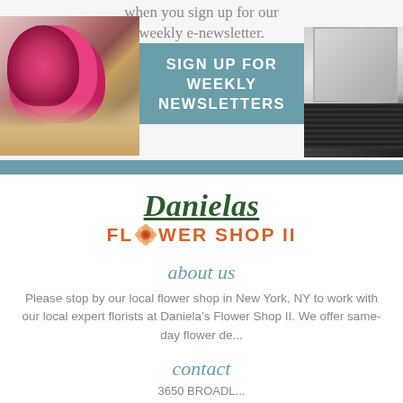when you sign up for our weekly e-newsletter.
[Figure (photo): Bouquet of red and pink flowers wrapped in brown paper on the left, and a laptop keyboard on the right, with a teal call-to-action button in the center]
SIGN UP FOR WEEKLY NEWSLETTERS
[Figure (logo): Danielas Flower Shop II logo with italic green 'Danielas' text underlined and orange 'FLOWER SHOP II' text with a flower icon replacing the O]
about us
Please stop by our local flower shop in New York, NY to work with our local expert florists at Daniela's Flower Shop II. We offer same-day flower de...
contact
3650 BROADL...